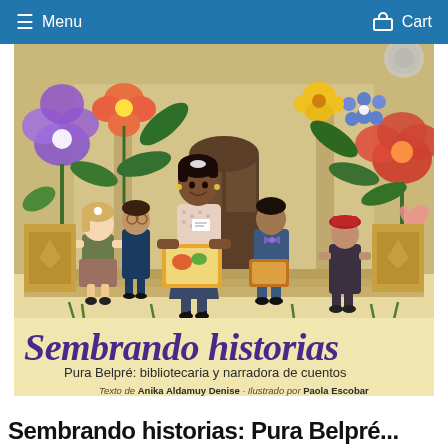Menu  Cart
[Figure (illustration): Book cover of 'Sembrando historias: Pura Belpré: bibliotecaria y narradora de cuentos' illustrated by Paola Escobar. Shows a Black woman librarian sitting on library steps reading a book to a group of diverse children, surrounded by large colorful flowers and leaves. Text at bottom: 'Sembrando historias', 'Pura Belpré: bibliotecaria y narradora de cuentos', 'Texto de Anika Aldamuy Denise · Ilustrado por Paola Escobar']
Sembrando historias: Pura Belpré...